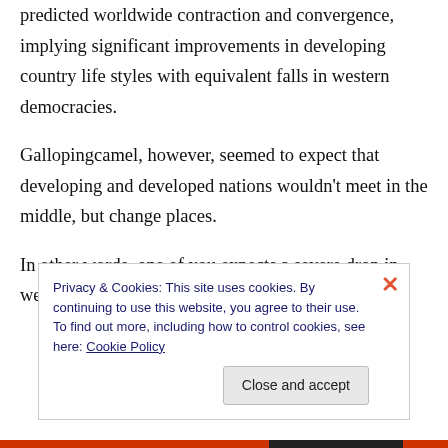predicted worldwide contraction and convergence, implying significant improvements in developing country life styles with equivalent falls in western democracies.
Gallopingcamel, however, seemed to expect that developing and developed nations wouldn't meet in the middle, but change places.
In other words, one of you expects a severe drop in western lifestyles while the other predicts a
Privacy & Cookies: This site uses cookies. By continuing to use this website, you agree to their use.
To find out more, including how to control cookies, see here: Cookie Policy